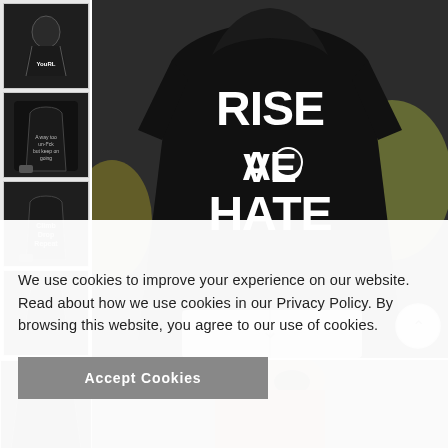[Figure (photo): E-commerce product page showing a person wearing a black sleeveless hoodie with 'RISE ABOVE HATE' printed on the back in large white letters. Thumbnail images on the left show different product views. A cookie consent overlay appears at the bottom.]
We use cookies to improve your experience on our website. Read about how we use cookies in our Privacy Policy. By browsing this website, you agree to our use of cookies.
Accept Cookies